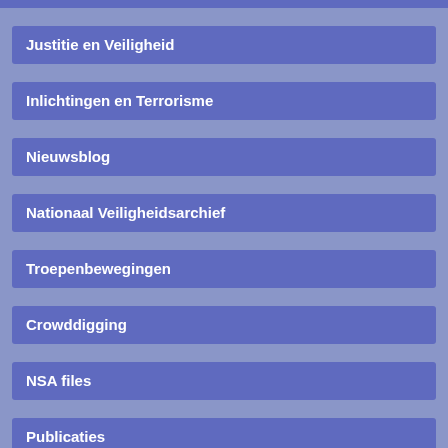Justitie en Veiligheid
Inlichtingen en Terrorisme
Nieuwsblog
Nationaal Veiligheidsarchief
Troepenbewegingen
Crowddigging
NSA files
Publicaties
Observant#80 2022 Protesteren is Terrorisme
Observant#79 2022 VASTech / Cyberupt
Observant#78 2021 De burger is staatsgevaarlijk